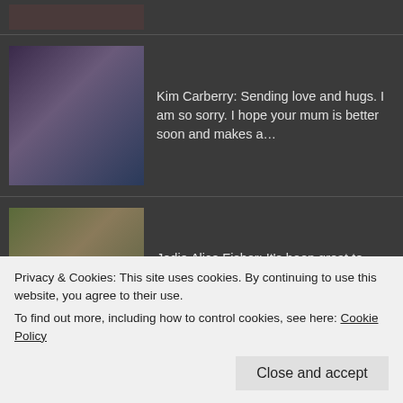[Figure (screenshot): Social media comment feed with user avatars and comment text on dark background]
Kim Carberry: Sending love and hugs. I am so sorry. I hope your mum is better soon and makes a…
Jodie Alice Fisher: It's been great to have something fun AND educational all at the same time....
Kim Carberry: What great products. My girls used to love using those Mathlink Cubes. They alwa…
Jodie Alice Fisher: It's a wonderful one in Kent. Bradbourne Riding School. They have a very long wa…
Privacy & Cookies: This site uses cookies. By continuing to use this website, you agree to their use.
To find out more, including how to control cookies, see here: Cookie Policy
Close and accept